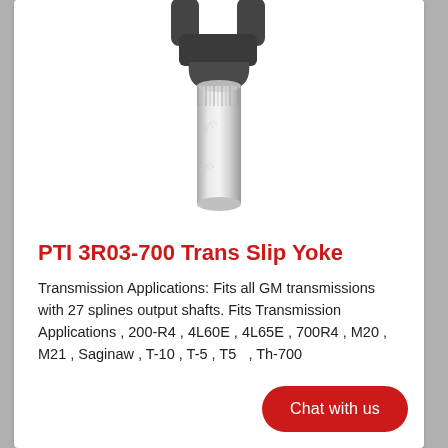[Figure (photo): Product photo of a PTI 3R03-700 Trans Slip Yoke — a metal yoke/flange head at the top connected to a cylindrical silver shaft, against a white background with subtle watermark logos.]
PTI 3R03-700 Trans Slip Yoke
Transmission Applications: Fits all GM transmissions with 27 splines output shafts. Fits Transmission Applications , 200-R4 , 4L60E , 4L65E , 700R4 , M20 , M21 , Saginaw , T-10 , T-5 , T56 , Th-700